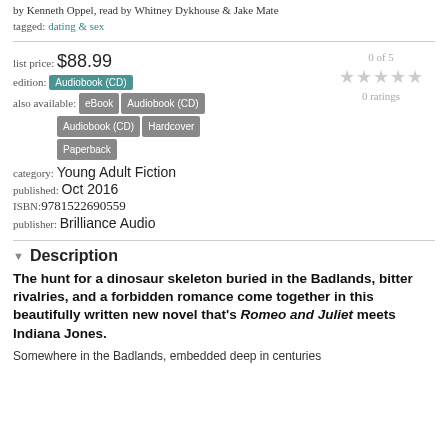by Kenneth Oppel, read by Whitney Dykhouse & Jake Mate
tagged: dating & sex
list price: $88.99
edition: Audiobook (CD)
also available: eBook | Audiobook (CD) | Audiobook (CD) | Hardcover | Paperback
0 of 5
★★★★★
0 ratings
category: Young Adult Fiction
published: Oct 2016
ISBN:9781522690559
publisher: Brilliance Audio
Description
The hunt for a dinosaur skeleton buried in the Badlands, bitter rivalries, and a forbidden romance come together in this beautifully written new novel that's Romeo and Juliet meets Indiana Jones.
Somewhere in the Badlands, embedded deep in centuries